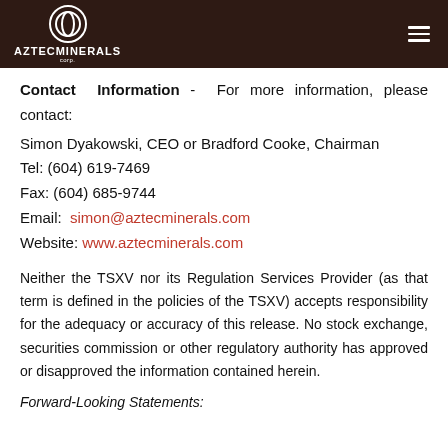AZTECMINERALS corp.
Contact Information - For more information, please contact:
Simon Dyakowski, CEO or Bradford Cooke, Chairman
Tel: (604) 619-7469
Fax: (604) 685-9744
Email: simon@aztecminerals.com
Website: www.aztecminerals.com
Neither the TSXV nor its Regulation Services Provider (as that term is defined in the policies of the TSXV) accepts responsibility for the adequacy or accuracy of this release. No stock exchange, securities commission or other regulatory authority has approved or disapproved the information contained herein.
Forward-Looking Statements: